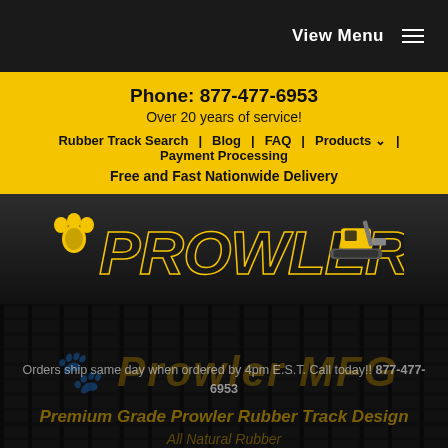View Menu
Phone: 877-477-6953
Over 20 years of service!
Rubber Track Search | Blog | FAQ | Products | Payment Processing
Free and Fast Nationwide Delivery
[Figure (logo): Prowler logo with paw print icon and tracked machine illustration on dark background]
[Figure (logo): Prowler MFG watermark text over rubber track texture background]
Orders ship same day when ordered by 4pm E.S.T. Call today!! 877-477-6953
Premium Grade Prowler Rubber Track Design
All Natural Rubber